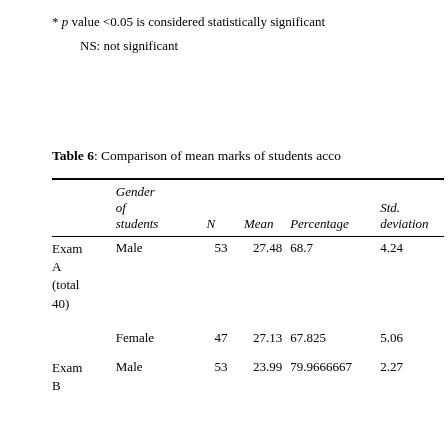* p value <0.05 is considered statistically significant
NS: not significant
Table 6: Comparison of mean marks of students acco
|  | Gender of students | N | Mean | Percentage | Std. deviation |
| --- | --- | --- | --- | --- | --- |
| Exam A (total 40) | Male | 53 | 27.48 | 68.7 | 4.24 |
|  | Female | 47 | 27.13 | 67.825 | 5.06 |
| Exam B | Male | 53 | 23.99 | 79.9666667 | 2.27 |